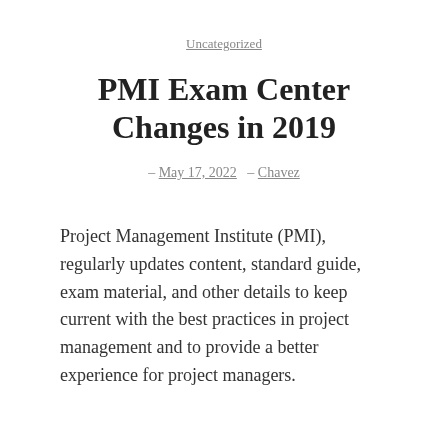Uncategorized
PMI Exam Center Changes in 2019
– May 17, 2022  – Chavez
Project Management Institute (PMI), regularly updates content, standard guide, exam material, and other details to keep current with the best practices in project management and to provide a better experience for project managers.